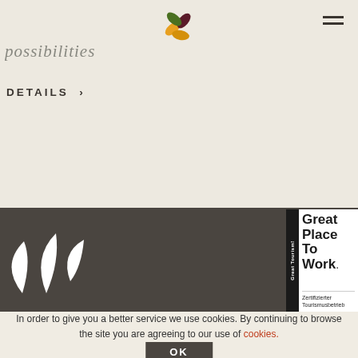[Figure (logo): Stylized four-petal flower logo with yellow, dark red, and green petals]
possibilities
DETAILS >
[Figure (logo): White leaf/sprout logo on dark grey background]
[Figure (logo): Great Tourism! Great Place To Work. Zertifizierter Tourismusbetrieb badge]
In order to give you a better service we use cookies. By continuing to browse the site you are agreeing to our use of cookies.
OK